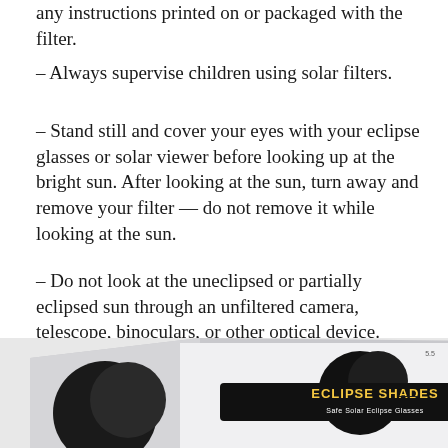any instructions printed on or packaged with the filter.
– Always supervise children using solar filters.
– Stand still and cover your eyes with your eclipse glasses or solar viewer before looking up at the bright sun. After looking at the sun, turn away and remove your filter — do not remove it while looking at the sun.
– Do not look at the uneclipsed or partially eclipsed sun through an unfiltered camera, telescope, binoculars, or other optical device.
[Figure (photo): Photograph of Eclipse Shades Safe Solar Eclipse Glasses packaging, partially visible at the bottom of the page, showing the product box with a stylized sun/eclipse graphic.]